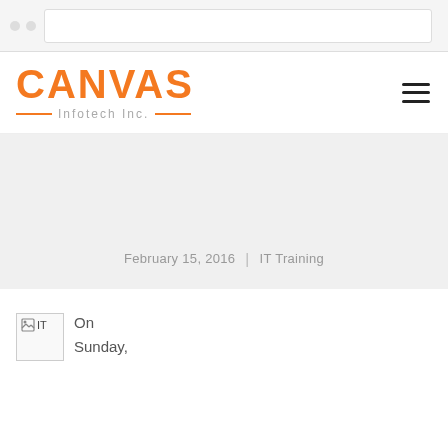[Figure (screenshot): Top browser navigation bar with back/forward buttons and address bar]
[Figure (logo): Canvas Infotech Inc. logo with orange CANVAS text and decorative lines around 'Infotech Inc.']
February 15, 2016  |  IT Training
[Figure (photo): IT training image (broken/loading image icon labeled 'IT')]
On Sunday,